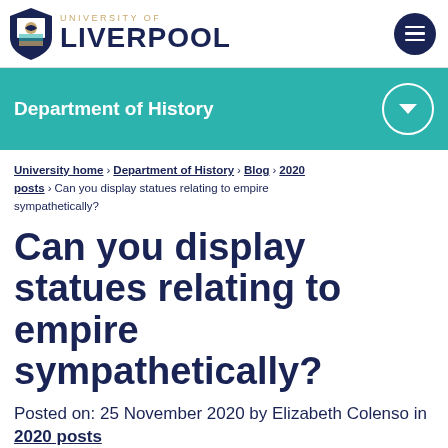[Figure (logo): University of Liverpool logo with shield crest and text]
Department of History
University home > Department of History > Blog > 2020 posts > Can you display statues relating to empire sympathetically?
Can you display statues relating to empire sympathetically?
Posted on: 25 November 2020 by Elizabeth Colenso in 2020 posts